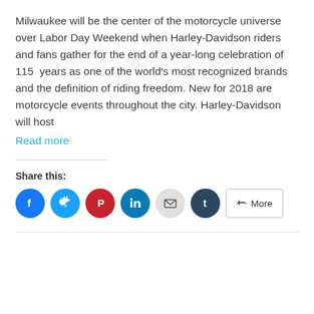Milwaukee will be the center of the motorcycle universe over Labor Day Weekend when Harley-Davidson riders and fans gather for the end of a year-long celebration of 115 years as one of the world's most recognized brands and the definition of riding freedom. New for 2018 are motorcycle events throughout the city. Harley-Davidson will host
Read more
Share this:
[Figure (infographic): Social share buttons: Facebook (blue circle), Twitter (light blue circle), Pinterest (red circle), LinkedIn (teal circle), Email (light gray circle), Tumblr (dark navy circle), and a More button with share icon]